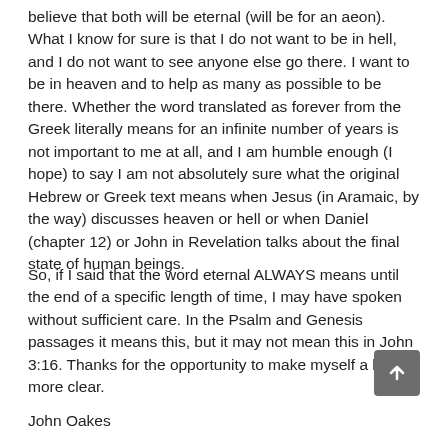believe that both will be eternal (will be for an aeon). What I know for sure is that I do not want to be in hell, and I do not want to see anyone else go there. I want to be in heaven and to help as many as possible to be there. Whether the word translated as forever from the Greek literally means for an infinite number of years is not important to me at all, and I am humble enough (I hope) to say I am not absolutely sure what the original Hebrew or Greek text means when Jesus (in Aramaic, by the way) discusses heaven or hell or when Daniel (chapter 12) or John in Revelation talks about the final state of human beings.
So, if I said that the word eternal ALWAYS means until the end of a specific length of time, I may have spoken without sufficient care. In the Psalm and Genesis passages it means this, but it may not mean this in John 3:16. Thanks for the opportunity to make myself a bit more clear.
John Oakes